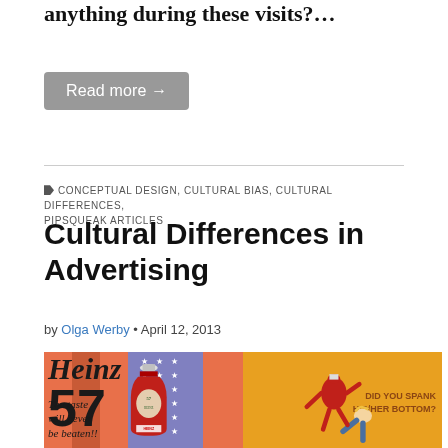anything during these visits?…
Read more →
CONCEPTUAL DESIGN, CULTURAL BIAS, CULTURAL DIFFERENCES, PIPSQUEAK ARTICLES
Cultural Differences in Advertising
by Olga Werby • April 12, 2013
[Figure (illustration): Two advertising images side by side: Left shows a Heinz 57 ketchup bottle against an American flag background with text 'Heinz 57 The taste will never be beaten!!'. Right shows a cartoon of a ketchup bottle character spanking a person on a yellow background with text 'Did you spank his/her bottom?']